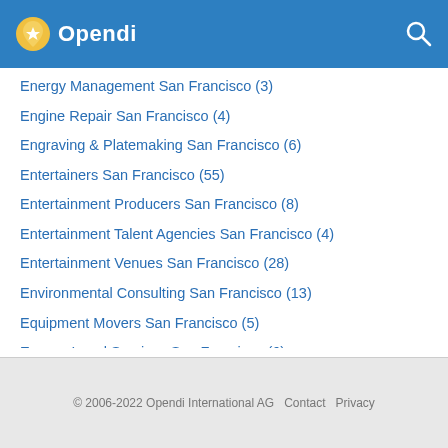Opendi
Energy Management San Francisco (3)
Engine Repair San Francisco (4)
Engraving & Platemaking San Francisco (6)
Entertainers San Francisco (55)
Entertainment Producers San Francisco (8)
Entertainment Talent Agencies San Francisco (4)
Entertainment Venues San Francisco (28)
Environmental Consulting San Francisco (13)
Equipment Movers San Francisco (5)
Escrow Legal Services San Francisco (6)
Escrow Services San Francisco (9)
Event Planners San Francisco (84)
Eye Care Referral Services San Francisco (71)
Eyewear San Francisco (10)
California » San Francisco Business Pages » Categories with E
© 2006-2022 Opendi International AG  Contact  Privacy